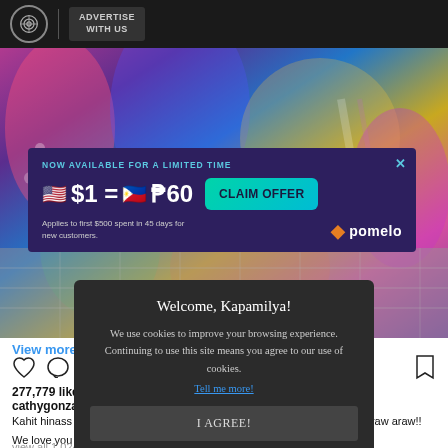ADVERTISE WITH US
[Figure (photo): Colorful patterned outfits photo background]
[Figure (infographic): Advertisement overlay: NOW AVAILABLE FOR A LIMITED TIME. $1 = P60. CLAIM OFFER. Applies to first $500 spent in 45 days for new customers. pomelo]
View more
277,779 like
cathygonza
Kahit hinass... ng lumabas ka, naging blessing ka naman sa napakaraming tao araw araw!! We love you mommy Pinty! Happy birthday!! 😊
view all 1,024 comments
Welcome, Kapamilya! We use cookies to improve your browsing experience. Continuing to use this site means you agree to our use of cookies. Tell me more! I AGREE!